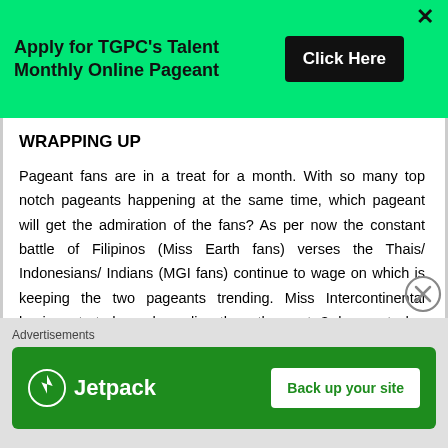[Figure (infographic): Green banner advertisement for TGPC Talent Monthly Online Pageant with 'Click Here' button and close X]
WRAPPING UP
Pageant fans are in a treat for a month. With so many top notch pageants happening at the same time, which pageant will get the admiration of the fans? As per now the constant battle of Filipinos (Miss Earth fans) verses the Thais/ Indonesians/ Indians (MGI fans) continue to wage on which is keeping the two pageants trending. Miss Intercontinental having started much earlier than the rest 3 has got due attention and is expected to ward
[Figure (infographic): Jetpack advertisement banner with green background, Jetpack logo and 'Back up your site' button]